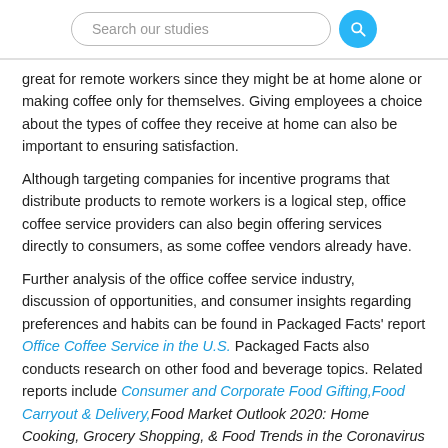Search our studies
great for remote workers since they might be at home alone or making coffee only for themselves. Giving employees a choice about the types of coffee they receive at home can also be important to ensuring satisfaction.
Although targeting companies for incentive programs that distribute products to remote workers is a logical step, office coffee service providers can also begin offering services directly to consumers, as some coffee vendors already have.
Further analysis of the office coffee service industry, discussion of opportunities, and consumer insights regarding preferences and habits can be found in Packaged Facts' report Office Coffee Service in the U.S. Packaged Facts also conducts research on other food and beverage topics. Related reports include Consumer and Corporate Food Gifting, Food Carryout & Delivery, Food Market Outlook 2020: Home Cooking, Grocery Shopping, & Food Trends in the Coronavirus Age, Online Grocery